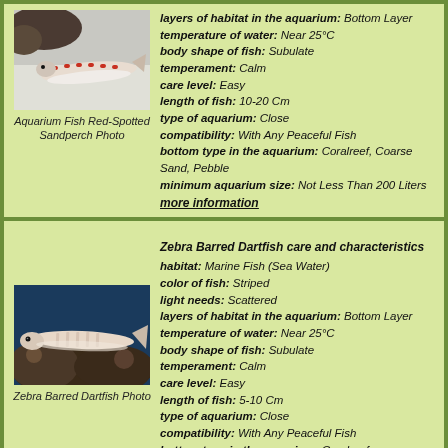[Figure (photo): Photo of Aquarium Fish Red-Spotted Sandperch]
Aquarium Fish Red-Spotted Sandperch Photo
layers of habitat in the aquarium: Bottom Layer
temperature of water: Near 25°C
body shape of fish: Subulate
temperament: Calm
care level: Easy
length of fish: 10-20 Cm
type of aquarium: Close
compatibility: With Any Peaceful Fish
bottom type in the aquarium: Coralreef, Coarse Sand, Pebble
minimum aquarium size: Not Less Than 200 Liters
more information
[Figure (photo): Photo of Zebra Barred Dartfish]
Zebra Barred Dartfish Photo
Zebra Barred Dartfish care and characteristics
habitat: Marine Fish (Sea Water)
color of fish: Striped
light needs: Scattered
layers of habitat in the aquarium: Bottom Layer
temperature of water: Near 25°C
body shape of fish: Subulate
temperament: Calm
care level: Easy
length of fish: 5-10 Cm
type of aquarium: Close
compatibility: With Any Peaceful Fish
bottom type in the aquarium: Coralreef
family: Gobies
minimum aquarium size: Not Less Than 200